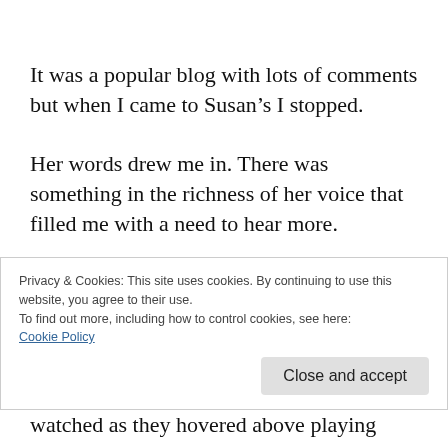It was a popular blog with lots of comments but when I came to Susan’s I stopped.
Her words drew me in. There was something in the richness of her voice that filled me with a need to hear more.
When I visited her blog I found myself surrounded by her poetry and her stories
Privacy & Cookies: This site uses cookies. By continuing to use this website, you agree to their use.
To find out more, including how to control cookies, see here:
Cookie Policy
Close and accept
watched as they hovered above playing